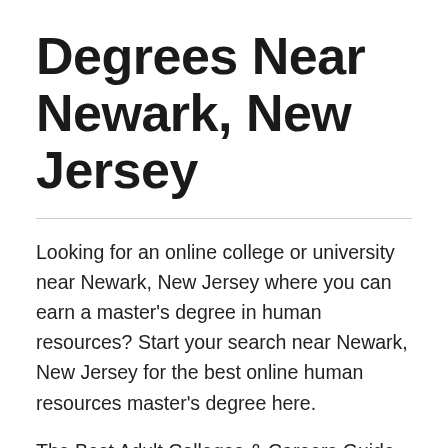Degrees Near Newark, New Jersey
Looking for an online college or university near Newark, New Jersey where you can earn a master's degree in human resources? Start your search near Newark, New Jersey for the best online human resources master's degree here.
The Best Adult Colleges & Careers Guide makes it easy to find information about the schools offering human resources master's degree